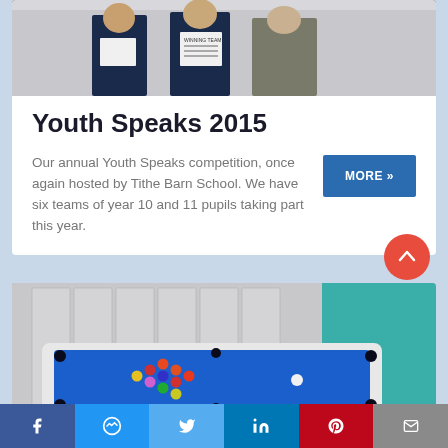[Figure (photo): Students holding certificates with an adult, wearing school uniforms]
Youth Speaks 2015
Our annual Youth Speaks competition, once again hosted by Tithe Barn School. We have six teams of year 10 and 11 pupils taking part this year.
[Figure (photo): A white-framed pool table with blue felt and coloured balls in a school setting]
Facebook | Messenger | Twitter | LinkedIn | Pinterest | Email